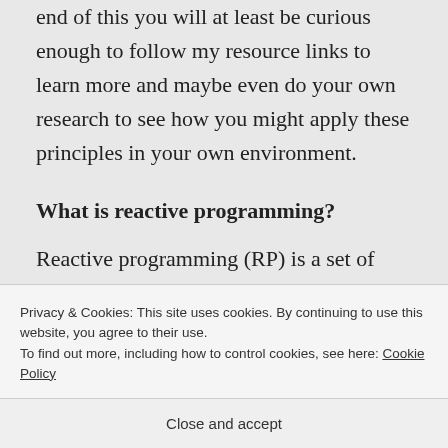end of this you will at least be curious enough to follow my resource links to learn more and maybe even do your own research to see how you might apply these principles in your own environment.
What is reactive programming?
Reactive programming (RP) is a set of programming patterns and techniques
Privacy & Cookies: This site uses cookies. By continuing to use this website, you agree to their use.
To find out more, including how to control cookies, see here: Cookie Policy
Close and accept